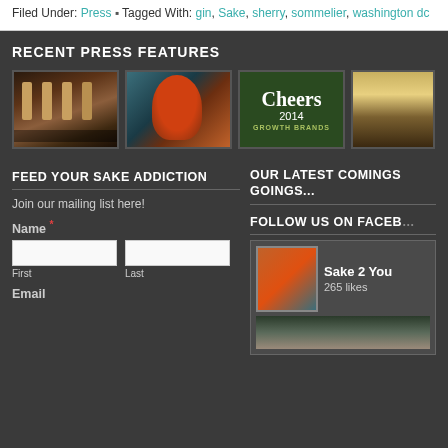Filed Under: Press • Tagged With: gin, Sake, sherry, sommelier, washington dc
RECENT PRESS FEATURES
[Figure (photo): Bar interior with warm amber lighting and wooden barrels]
[Figure (photo): Woman with red hair sitting at a bar counter]
[Figure (photo): Cheers 2014 magazine cover with Growth Brands]
[Figure (photo): Partial view of bottles]
FEED YOUR SAKE ADDICTION
Join our mailing list here!
Name
First
Last
Email
OUR LATEST COMINGS GOINGS...
FOLLOW US ON FACEBOOK
Sake 2 You
265 likes